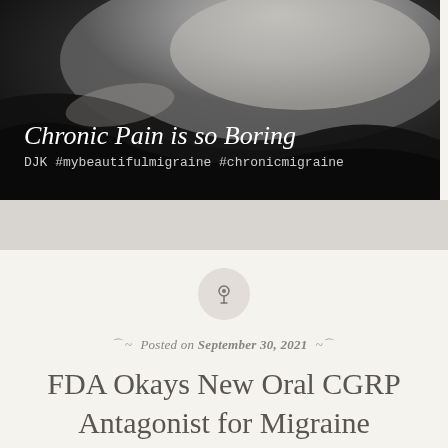[Figure (photo): Black and white photo of a person lying on a dark surface, possibly a pillow or mattress, with text overlay reading 'Chronic Pain is so Boring' in script and 'DJK #mybeautifulmigraine #chronicmigraine' below.]
Posted on September 30, 2021
FDA Okays New Oral CGRP Antagonist for Migraine Prevention